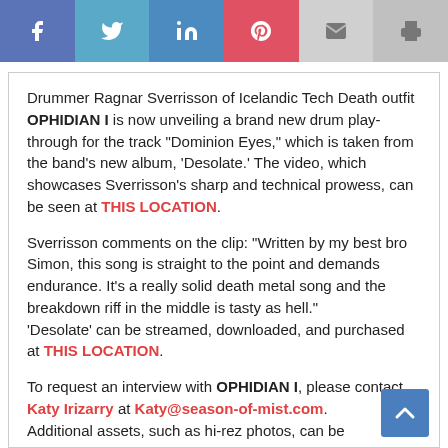[Figure (infographic): Social sharing toolbar with icons for Facebook (blue), Twitter (light blue), LinkedIn (medium blue), Pinterest (red), Email (light gray), and Print (gray).]
Drummer Ragnar Sverrisson of Icelandic Tech Death outfit OPHIDIAN I is now unveiling a brand new drum play-through for the track “Dominion Eyes,” which is taken from the band’s new album, ‘Desolate.’ The video, which showcases Sverrisson’s sharp and technical prowess, can be seen at THIS LOCATION.
Sverrisson comments on the clip: “Written by my best bro Simon, this song is straight to the point and demands endurance. It’s a really solid death metal song and the breakdown riff in the middle is tasty as hell.” ‘Desolate’ can be streamed, downloaded, and purchased at THIS LOCATION.
To request an interview with OPHIDIAN I, please contact Katy Irizarry at Katy@season-of-mist.com. Additional assets, such as hi-rez photos, can be